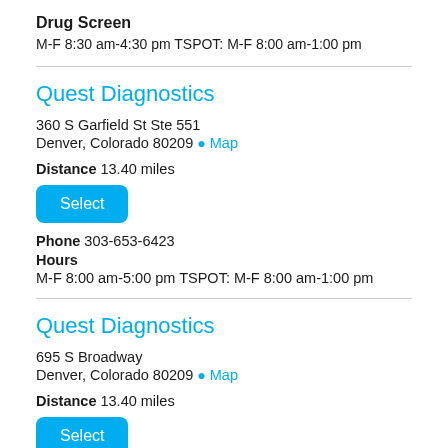Drug Screen
M-F 8:30 am-4:30 pm TSPOT: M-F 8:00 am-1:00 pm
Quest Diagnostics
360 S Garfield St Ste 551
Denver, Colorado 80209 Map
Distance 13.40 miles
Select
Phone 303-653-6423
Hours
M-F 8:00 am-5:00 pm TSPOT: M-F 8:00 am-1:00 pm
Quest Diagnostics
695 S Broadway
Denver, Colorado 80209 Map
Distance 13.40 miles